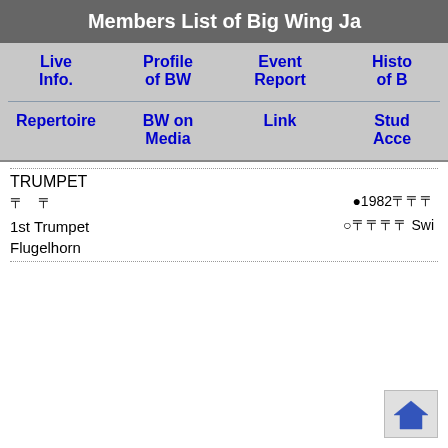Members List of Big Wing Ja
Live Info.
Profile of BW
Event Report
Histo of B
Repertoire
BW on Media
Link
Stud Acce
TRUMPET
〓　〓　　　　　　　　　　　　　　　　　　●1982〓〓〓
1st Trumpet　　　　　　　　　　　　　　　○〓〓〓〓 Swi
Flugelhorn
[Figure (illustration): Home button icon - blue house/arrow shape on light gray background]